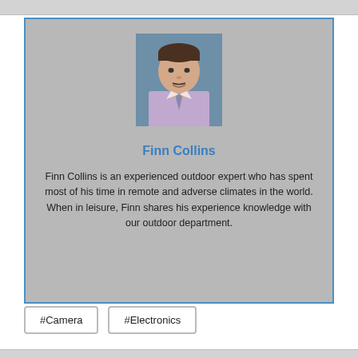[Figure (photo): Profile photo of Finn Collins, a man in a light purple shirt and tie, smiling, professional headshot style, against a blue-grey background.]
Finn Collins
Finn Collins is an experienced outdoor expert who has spent most of his time in remote and adverse climates in the world. When in leisure, Finn shares his experience knowledge with our outdoor department.
#Camera
#Electronics